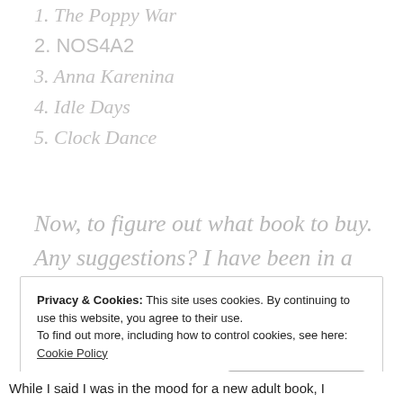1. The Poppy War
2. NOS4A2
3. Anna Karenina
4. Idle Days
5. Clock Dance
Now, to figure out what book to buy. Any suggestions? I have been in a mood for a fast paced cute new adult book.
Privacy & Cookies: This site uses cookies. By continuing to use this website, you agree to their use.
To find out more, including how to control cookies, see here: Cookie Policy
Close and accept
While I said I was in the mood for a new adult book, I